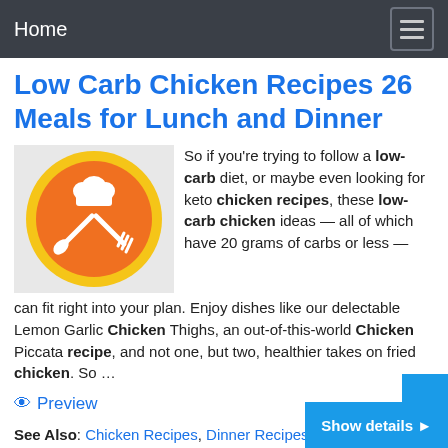Home
Low Carb Chicken Recipes 26 Meals for Lunch and Dinner
[Figure (logo): Orange circle with white chef hat, spoon and fork crossed icons]
So if you’re trying to follow a low-carb diet, or maybe even looking for keto chicken recipes, these low-carb chicken ideas — all of which have 20 grams of carbs or less — can fit right into your plan. Enjoy dishes like our delectable Lemon Garlic Chicken Thighs, an out-of-this-world Chicken Piccata recipe, and not one, but two, healthier takes on fried chicken. So …
Preview
See Also: Chicken Recipes, Dinner Recipes